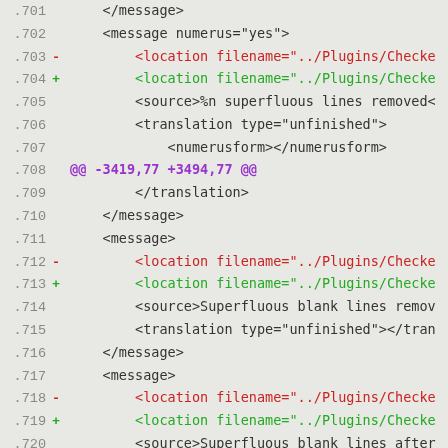Code diff view showing XML lines 701-721
.701    </message>
.702    <message numerus="yes">
.703 -      <location filename="../Plugins/Checke
.704 +      <location filename="../Plugins/Checke
.705        <source>%n superfluous lines removed<
.706        <translation type="unfinished">
.707            <numerusform></numerusform>
.708 @@ -3419,77 +3494,77 @@
.709        </translation>
.710    </message>
.711    <message>
.712 -      <location filename="../Plugins/Checke
.713 +      <location filename="../Plugins/Checke
.714        <source>Superfluous blank lines remov
.715        <translation type="unfinished"></tran
.716    </message>
.717    <message>
.718 -      <location filename="../Plugins/Checke
.719 +      <location filename="../Plugins/Checke
.720        <source>Superfluous blank lines after
.721        <translation type="unfinished"></tr